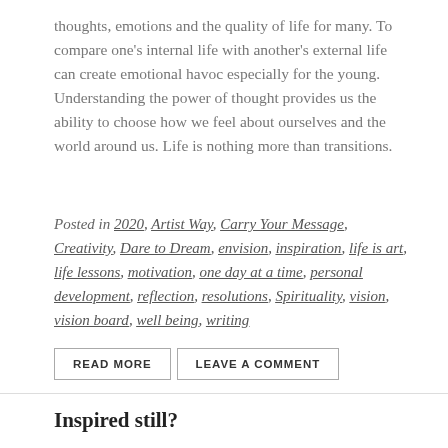thoughts, emotions and the quality of life for many. To compare one's internal life with another's external life can create emotional havoc especially for the young. Understanding the power of thought provides us the ability to choose how we feel about ourselves and the world around us. Life is nothing more than transitions.
Posted in 2020, Artist Way, Carry Your Message, Creativity, Dare to Dream, envision, inspiration, life is art, life lessons, motivation, one day at a time, personal development, reflection, resolutions, Spirituality, vision, vision board, well being, writing
READ MORE   LEAVE A COMMENT
Inspired still?